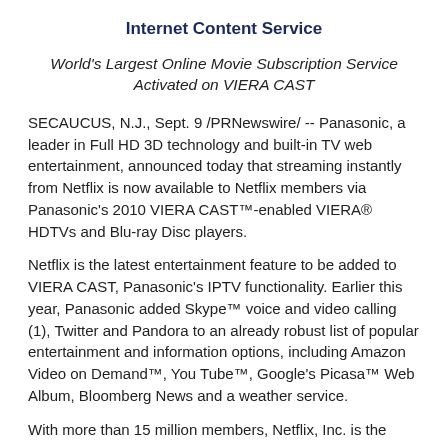Internet Content Service
World's Largest Online Movie Subscription Service Activated on VIERA CAST
SECAUCUS, N.J., Sept. 9 /PRNewswire/ -- Panasonic, a leader in Full HD 3D technology and built-in TV web entertainment, announced today that streaming instantly from Netflix is now available to Netflix members via Panasonic's 2010 VIERA CAST™-enabled VIERA® HDTVs and Blu-ray Disc players.
Netflix is the latest entertainment feature to be added to VIERA CAST, Panasonic's IPTV functionality. Earlier this year, Panasonic added Skype™ voice and video calling (1), Twitter and Pandora to an already robust list of popular entertainment and information options, including Amazon Video on Demand™, You Tube™, Google's Picasa™ Web Album, Bloomberg News and a weather service.
With more than 15 million members, Netflix, Inc. is the